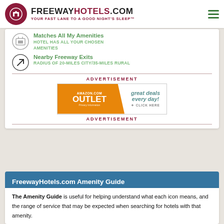FREEWAYHOTELS.COM YOUR FAST LANE TO A GOOD NIGHT'S SLEEP™
Matches All My Amenities
HOTEL HAS ALL YOUR CHOSEN AMENITIES
Nearby Freeway Exits
RADIUS OF 20-MILES CITY/35-MILES RURAL
ADVERTISEMENT
[Figure (illustration): Amazon.com Outlet banner ad: orange shape on left with 'AMAZON.COM OUTLET' text and 'Privacy Information' below; right side says 'great deals every day! CLICK HERE']
ADVERTISEMENT
FreewayHotels.com Amenity Guide
The Amenity Guide is useful for helping understand what each icon means, and the range of service that may be expected when searching for hotels with that amenity.